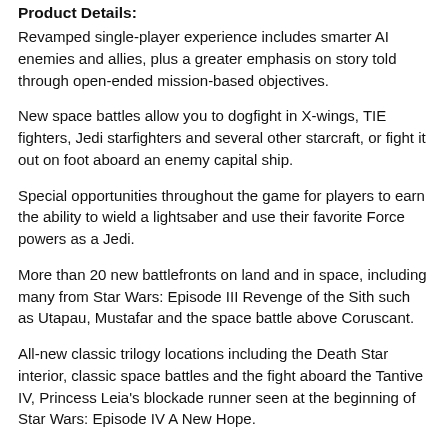Product Details:
Revamped single-player experience includes smarter AI enemies and allies, plus a greater emphasis on story told through open-ended mission-based objectives.
New space battles allow you to dogfight in X-wings, TIE fighters, Jedi starfighters and several other starcraft, or fight it out on foot aboard an enemy capital ship.
Special opportunities throughout the game for players to earn the ability to wield a lightsaber and use their favorite Force powers as a Jedi.
More than 20 new battlefronts on land and in space, including many from Star Wars: Episode III Revenge of the Sith such as Utapau, Mustafar and the space battle above Coruscant.
All-new classic trilogy locations including the Death Star interior, classic space battles and the fight aboard the Tantive IV, Princess Leia's blockade runner seen at the beginning of Star Wars: Episode IV A New Hope.